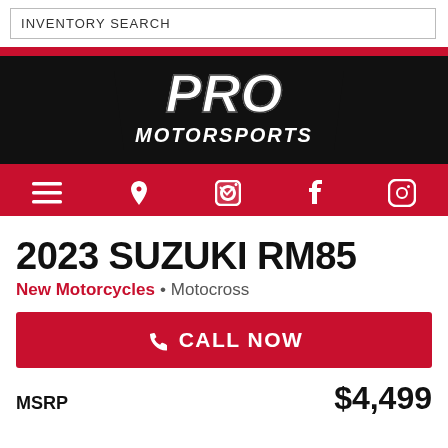INVENTORY SEARCH
[Figure (logo): PRO MOTORSPORTS logo in white italic text on black background with red border accents]
[Figure (infographic): Red navigation bar with hamburger menu, location pin, phone, Facebook, and Instagram icons in white]
2023 SUZUKI RM85
New Motorcycles • Motocross
CALL NOW
MSRP $4,499